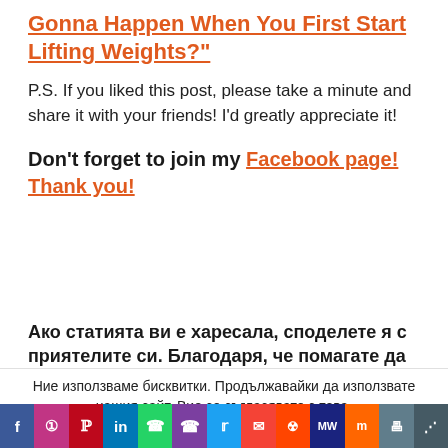Gonna Happen When You First Start Lifting Weights?"
P.S. If you liked this post, please take a minute and share it with your friends! I'd greatly appreciate it!
Don't forget to join my Facebook page! Thank you!
Ако статията ви е харесала, споделете я с приятелите си. Благодаря, че помагате да
Ние използваме бисквитки. Продължавайки да използвате нашия сайт, Вие се съгласявате с това. Съгласен съм